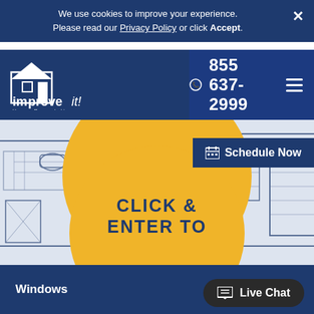We use cookies to improve your experience. Please read our Privacy Policy or click Accept.
[Figure (logo): improve it! Home Remodeling logo — white house icon with plus sign and stylized text]
855 637-2999
Schedule Now
A BAT REMODEL
[Figure (illustration): Blueprint-style line illustration of a bathroom floor plan with bathroom fixtures]
CLICK & ENTER TO
Windows
Live Chat